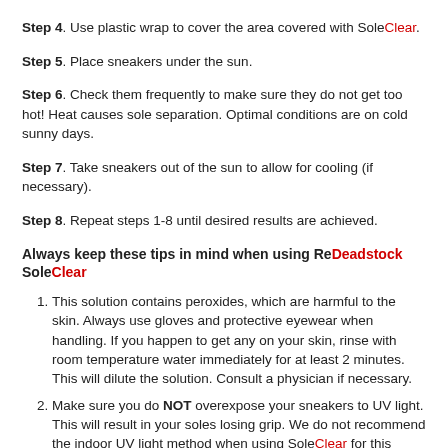Step 4. Use plastic wrap to cover the area covered with SoleClear.
Step 5. Place sneakers under the sun.
Step 6. Check them frequently to make sure they do not get too hot! Heat causes sole separation. Optimal conditions are on cold sunny days.
Step 7. Take sneakers out of the sun to allow for cooling (if necessary).
Step 8. Repeat steps 1-8 until desired results are achieved.
Always keep these tips in mind when using ReDeadstock SoleClear
1. This solution contains peroxides, which are harmful to the skin. Always use gloves and protective eyewear when handling. If you happen to get any on your skin, rinse with room temperature water immediately for at least 2 minutes. This will dilute the solution. Consult a physician if necessary.
2. Make sure you do NOT overexpose your sneakers to UV light. This will result in your soles losing grip. We do not recommend the indoor UV light method when using SoleClear for this reason.
3. Do NOT let your shoes get too hot. This will cause the glue in your sneakers to melt. Once glue melts, anything held together by glue will